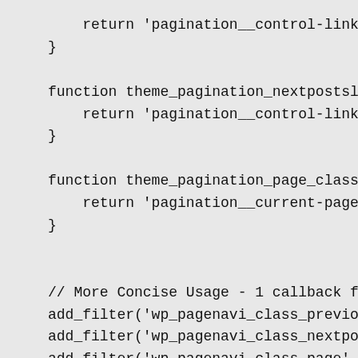return 'pagination__control-link paginat
}

function theme_pagination_nextpostslink_c
    return 'pagination__control-link paginat
}

function theme_pagination_page_class($cla
    return 'pagination__current-page';
}


// More Concise Usage - 1 callback for al
add_filter('wp_pagenavi_class_previouspost
add_filter('wp_pagenavi_class_nextpostslin
add_filter('wp_pagenavi_class_page', 'ther

function theme_pagination_class($class_pa